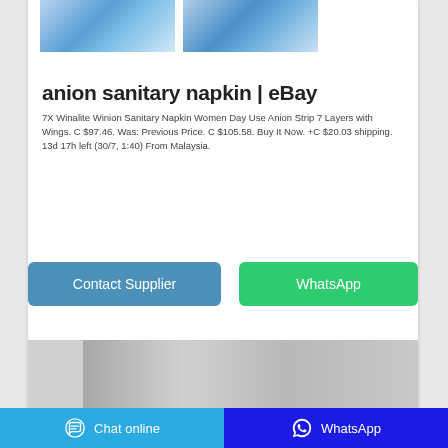[Figure (photo): Two product images of Winalite sanitary napkin boxes with blue packaging, partially visible at top of page]
anion sanitary napkin | eBay
7X Winalite Winion Sanitary Napkin Women Day Use Anion Strip 7 Layers with Wings. C $97.46. Was: Previous Price. C $105.58. Buy It Now. +C $20.03 shipping. 13d 17h left (30/7, 1:40) From Malaysia.
[Figure (screenshot): Contact Supplier and WhatsApp buttons]
[Figure (photo): Partial product image at bottom, gray/silver metallic appearance]
Chat online   WhatsApp